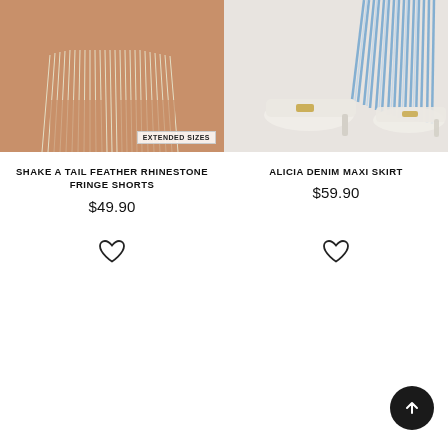[Figure (photo): Product photo of rhinestone fringe shorts on model, close-up on legs/waist, with 'EXTENDED SIZES' badge]
SHAKE A TAIL FEATHER RHINESTONE FRINGE SHORTS
$49.90
[Figure (photo): Product photo of Alicia denim maxi skirt on model showing white mule heels and blue denim fringe]
ALICIA DENIM MAXI SKIRT
$59.90